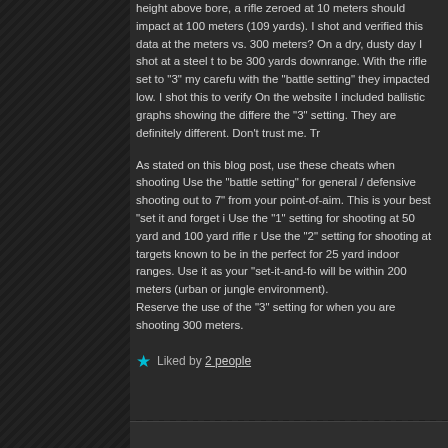height above bore, a rifle zeroed at 10 meters should impact at 100 meters (109 yards). I shot and verified this data at the meters vs. 300 meters? On a dry, dusty day I shot at a steel t to be 300 yards downrange. With the rifle set to "3" my carefu with the "battle setting" they impacted low. I shot this to verify On the website I included ballistic graphs showing the differe the "3" setting. They are definitely different. Don't trust me. Tr
As stated on this blog post, use these cheats when shooting Use the "battle setting" for general / defensive shooting out to 7" from your point-of-aim. This is your best "set it and forget i Use the "1" setting for shooting at 50 yard and 100 yard rifle r Use the "2" setting for shooting at targets known to be in the perfect for 25 yard indoor ranges. Use it as your "set-it-and-fo will be within 200 meters (urban or jungle environment). Reserve the use of the "3" setting for when you are shooting 300 meters.
★ Liked by 2 people